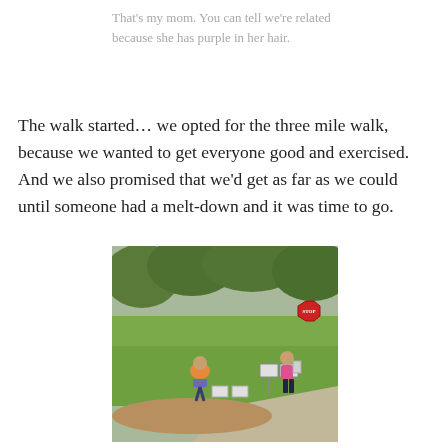That's my mom. You can tell we're related because she has purple in her hair.
The walk started… we opted for the three mile walk, because we wanted to get everyone good and exercised. And we also promised that we'd get as far as we could until someone had a melt-down and it was time to go.
[Figure (photo): Outdoor photo of two people on a grassy area near a path, with trees in the background. One person is bent over near some signs on the ground, wearing an orange top. Another person stands to the right holding something, wearing a pink top and dark pants. A stop sign is visible in the background.]